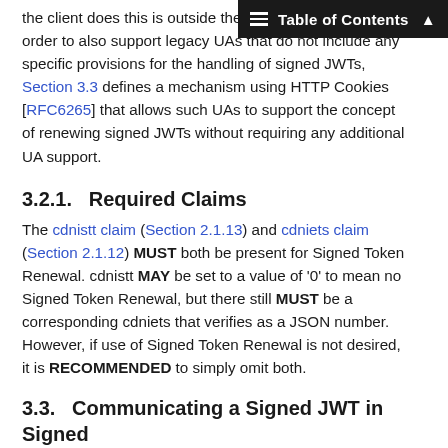Table of Contents
the client does this is outside the scope. However, in order to also support legacy UAs that do not include any specific provisions for the handling of signed JWTs, Section 3.3 defines a mechanism using HTTP Cookies [RFC6265] that allows such UAs to support the concept of renewing signed JWTs without requiring any additional UA support.
3.2.1.   Required Claims
The cdnistt claim (Section 2.1.13) and cdniets claim (Section 2.1.12) MUST both be present for Signed Token Renewal. cdnistt MAY be set to a value of '0' to mean no Signed Token Renewal, but there still MUST be a corresponding cdniets that verifies as a JSON number. However, if use of Signed Token Renewal is not desired, it is RECOMMENDED to simply omit both.
3.3.   Communicating a Signed JWT in Signed Token Renewal
This section assumes the value of the CDNI Signed Token